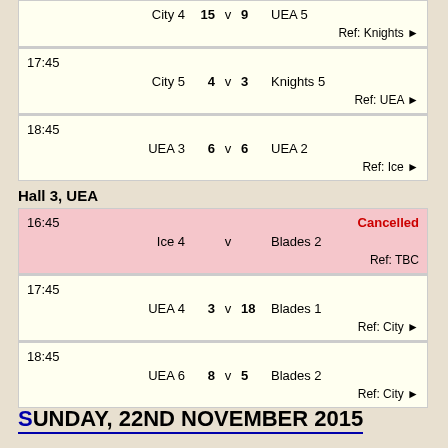City 4  15 v 9  UEA 5 — Ref: Knights
17:45 — City 5  4 v 3  Knights 5 — Ref: UEA
18:45 — UEA 3  6 v 6  UEA 2 — Ref: Ice
Hall 3, UEA
16:45 Cancelled — Ice 4 v Blades 2 — Ref: TBC
17:45 — UEA 4  3 v 18  Blades 1 — Ref: City
18:45 — UEA 6  8 v 5  Blades 2 — Ref: City
SUNDAY, 22ND NOVEMBER 2015